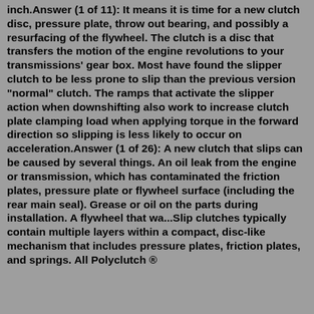inch.Answer (1 of 11): It means it is time for a new clutch disc, pressure plate, throw out bearing, and possibly a resurfacing of the flywheel. The clutch is a disc that transfers the motion of the engine revolutions to your transmissions' gear box. Most have found the slipper clutch to be less prone to slip than the previous version "normal" clutch. The ramps that activate the slipper action when downshifting also work to increase clutch plate clamping load when applying torque in the forward direction so slipping is less likely to occur on acceleration.Answer (1 of 26): A new clutch that slips can be caused by several things. An oil leak from the engine or transmission, which has contaminated the friction plates, pressure plate or flywheel surface (including the rear main seal). Grease or oil on the parts during installation. A flywheel that wa...Slip clutches typically contain multiple layers within a compact, disc-like mechanism that includes pressure plates, friction plates, and springs. All Polyclutch ® disc-based products include the inclusion of a compli...